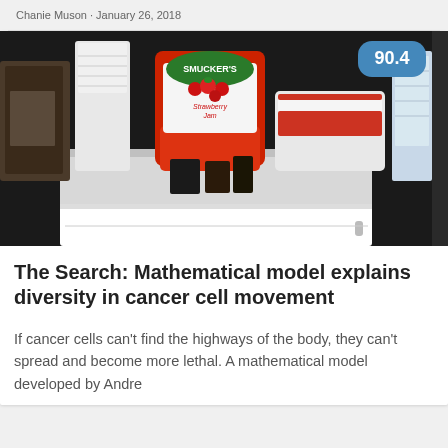Chanie Muson · January 26, 2018
[Figure (photo): Photo of a refrigerator shelf interior showing a Smucker's Strawberry Jam jar prominently in the center, with other food items around it. A blue badge with '90.4' appears in the top-right corner of the image.]
The Search: Mathematical model explains diversity in cancer cell movement
If cancer cells can't find the highways of the body, they can't spread and become more lethal. A mathematical model developed by Andre